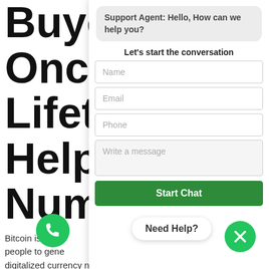Buyer Once Lifetime Helpline Number
Bitcoin is one of the ways people to generate digitalized currency now most people prefer Bitcoin Buyer for is. When it comes to buying bitcoin, it is important to pay close attention to some essential features, at still one of the good
[Figure (screenshot): Chat support widget overlay showing a support agent greeting, a contact form with Name, Email, Phone, Write a message fields, and a green Start Chat button. Also shows a Need Help? tooltip, a green phone icon button, and a green X close button.]